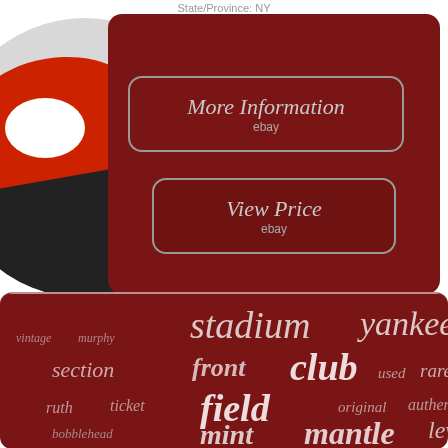State/Province: NY
[Figure (screenshot): eBay listing page fragment showing a dark red card with a circular baseball cap image on the left, two buttons (More Information and View Price) and a tag cloud below.]
More Information
ebay
View Price
ebay
stadium  yankee  vintage  murphy  section  front  club  used  rare  ruth  ticket  field  original  authentic  bobblehead  mint  mantle  level